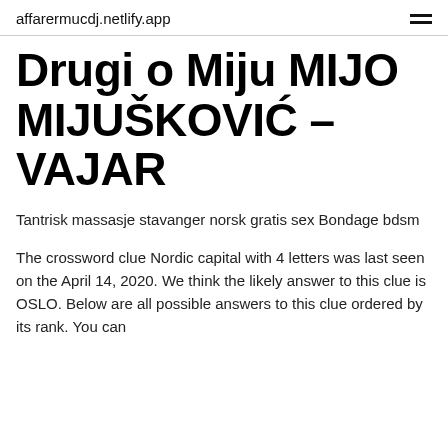affarermucdj.netlify.app
Drugi o Miju MIJO MIJUŠKOVIĆ – VAJAR
Tantrisk massasje stavanger norsk gratis sex Bondage bdsm
The crossword clue Nordic capital with 4 letters was last seen on the April 14, 2020. We think the likely answer to this clue is OSLO. Below are all possible answers to this clue ordered by its rank. You can